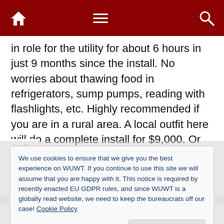[Figure (screenshot): Dark red navigation bar with home icon, hamburger menu icon, and search icon]
in role for the utility for about 6 hours in just 9 months since the install. No worries about thawing food in refrigerators, sump pumps, reading with flashlights, etc. Highly recommended if you are in a rural area. A local outfit here will do a complete install for $9,000. Or you can get the parts for about $4,000-$5,000.
Cheers, Kevin
+ 0 −
We use cookies to ensure that we give you the best experience on WUWT. If you continue to use this site we will assume that you are happy with it. This notice is required by recently enacted EU GDPR rules, and since WUWT is a globally read website, we need to keep the bureaucrats off our case! Cookie Policy
Close and accept
toward electrical grid failure.